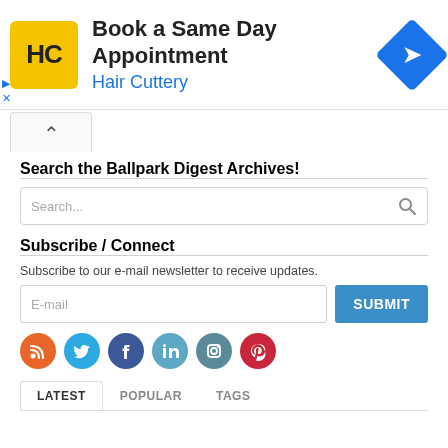[Figure (logo): Hair Cuttery advertisement banner with HC logo, 'Book a Same Day Appointment' title, 'Hair Cuttery' subtitle in blue, and a blue diamond arrow icon]
Search the Ballpark Digest Archives!
[Figure (screenshot): Search input box with placeholder text 'Search...' and a search icon]
Subscribe / Connect
Subscribe to our e-mail newsletter to receive updates.
[Figure (screenshot): E-mail input field with SUBMIT button]
[Figure (infographic): Row of social media icon circles: RSS (orange), Twitter (blue), Facebook (dark blue), LinkedIn (light blue), Instagram (teal), Pinterest (red)]
[Figure (screenshot): Tab bar with LATEST (active), POPULAR, TAGS tabs]